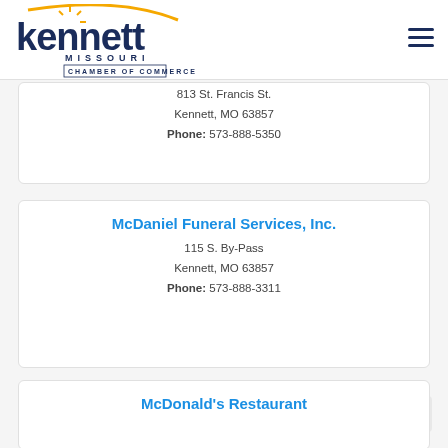Kennett Missouri Chamber of Commerce
813 St. Francis St.
Kennett, MO 63857
Phone: 573-888-5350
McDaniel Funeral Services, Inc.
115 S. By-Pass
Kennett, MO 63857
Phone: 573-888-3311
McDonald's Restaurant